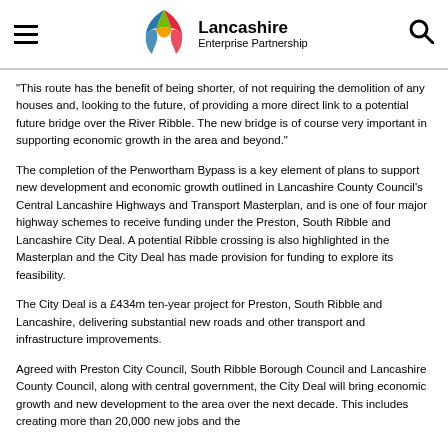Lancashire Enterprise Partnership
“This route has the benefit of being shorter, of not requiring the demolition of any houses and, looking to the future, of providing a more direct link to a potential future bridge over the River Ribble. The new bridge is of course very important in supporting economic growth in the area and beyond.”
The completion of the Penwortham Bypass is a key element of plans to support new development and economic growth outlined in Lancashire County Council’s Central Lancashire Highways and Transport Masterplan, and is one of four major highway schemes to receive funding under the Preston, South Ribble and Lancashire City Deal. A potential Ribble crossing is also highlighted in the Masterplan and the City Deal has made provision for funding to explore its feasibility.
The City Deal is a £434m ten-year project for Preston, South Ribble and Lancashire, delivering substantial new roads and other transport and infrastructure improvements.
Agreed with Preston City Council, South Ribble Borough Council and Lancashire County Council, along with central government, the City Deal will bring economic growth and new development to the area over the next decade. This includes creating more than 20,000 new jobs and the